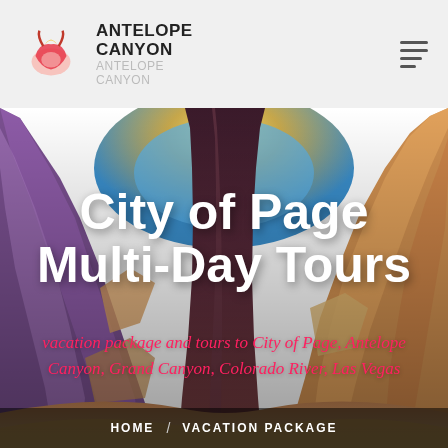ANTELOPE CANYON
[Figure (photo): Antelope Canyon scenic photo showing colorful sandstone slot canyon walls with purple, orange and gold hues, with a blue sky visible at the top]
City of Page Multi-Day Tours
vacation package and tours to City of Page, Antelope Canyon, Grand Canyon, Colorado River, Las Vegas
HOME / VACATION PACKAGE